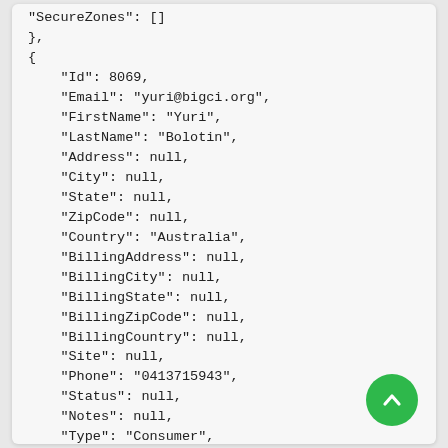"SecureZones": []
},
{
  "Id": 8069,
  "Email": "yuri@bigci.org",
  "FirstName": "Yuri",
  "LastName": "Bolotin",
  "Address": null,
  "City": null,
  "State": null,
  "ZipCode": null,
  "Country": "Australia",
  "BillingAddress": null,
  "BillingCity": null,
  "BillingState": null,
  "BillingZipCode": null,
  "BillingCountry": null,
  "Site": null,
  "Phone": "0413715943",
  "Status": null,
  "Notes": null,
  "Type": "Consumer",
  "Role": "General",